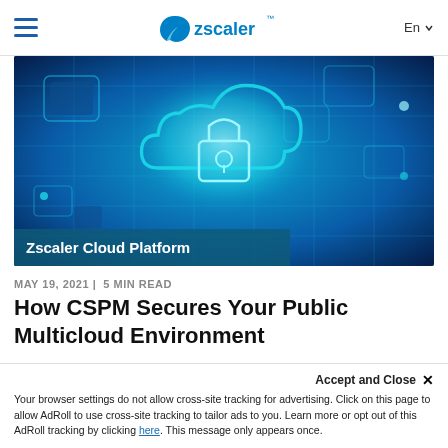≡   zscaler™   En ▾
[Figure (photo): Hero image showing a glowing blue cloud with padlock icon on a dark blue digital circuit background, with overlay text 'Zscaler Cloud Platform']
MAY 19, 2021 | 5 MIN READ
How CSPM Secures Your Public Multicloud Environment
Public cloud brings tremendous advantages...
Accept and Close ×
Your browser settings do not allow cross-site tracking for advertising. Click on this page to allow AdRoll to use cross-site tracking to tailor ads to you. Learn more or opt out of this AdRoll tracking by clicking here. This message only appears once.